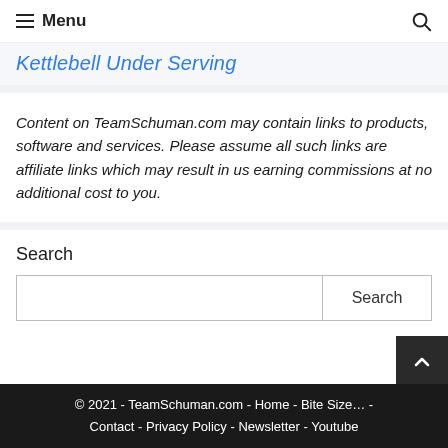Menu
Kettlebell Under Serving
Content on TeamSchuman.com may contain links to products, software and services. Please assume all such links are affiliate links which may result in us earning commissions at no additional cost to you.
Search
© 2021 - TeamSchuman.com - Home - Bite Size… - Contact - Privacy Policy - Newsletter - Youtube